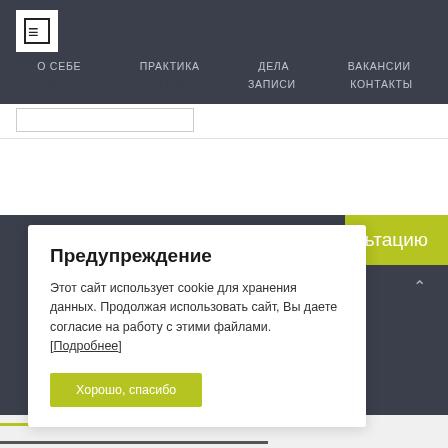[Figure (logo): White square logo with stylized arrow/letter icon on dark navigation bar]
О СЕБЕ   ПРАКТИКА   ДЕЛА   ВАКАНСИИ   ЗАПИСИ   КОНТАКТЫ
Предупреждение
Этот сайт использует cookie для хранения данных. Продолжая использовать сайт, Вы даете согласие на работу с этими файлами. [Подробнее]
Хорошо, спасибо